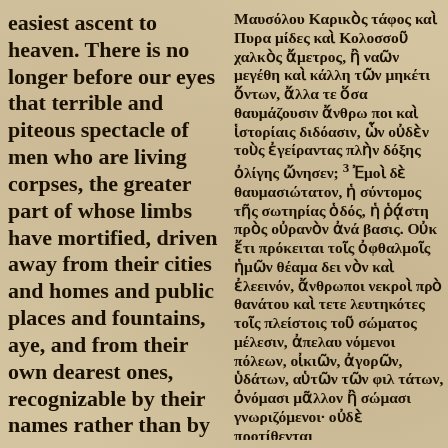easiest ascent to heaven. There is no longer before our eyes that terrible and piteous spectacle of men who are living corpses, the greater part of whose limbs have mortified, driven away from their cities and homes and public places and fountains, aye, and from their own dearest ones, recognizable by their names rather than by their features: they are no longer brought before us at our gatherings and
Μαυσόλου Καρικὸς τάφος καὶ Πυρα μίδες καὶ Κολοσσοῦ χαλκὸς ἄμετρος, ἢ ναῶν μεγέθη καὶ κάλλη τῶν μηκέτι ὄντων, ἄλλα τε ὅσα θαυμάζουσιν ἄνθρω ποι καὶ ἱστορίαις διδόασιν, ὧν οὐδὲν τοὺς ἐγείραντας πλὴν δόξης ὀλίγης ὤνησεν; ³ Ἐμοὶ δὲ θαυμασιώτατον, ἡ σύντομος τῆς σωτηρίας ὁδός, ἡ ῥᾴστη πρὸς οὐρανὸν ἀνά βασις. Οὐκ ἔτι πρόκειται τοῖς ὀφθαλμοῖς ἡμῶν θέαμα δει νὸν καὶ ἐλεεινόν, ἄνθρωποι νεκροὶ πρὸ θανάτου καὶ τετε λευτηκότες τοῖς πλείστοις τοῦ σώματος μέλεσιν, ἀπελαυ νόμενοι πόλεων, οἰκιῶν, ἀγορῶν, ὑδάτων, αὑτῶν τῶν φιλ τάτων, ὀνόμασι μᾶλλον ἢ σώμασι γνωριζόμενοι· οὐδὲ προτίθενται